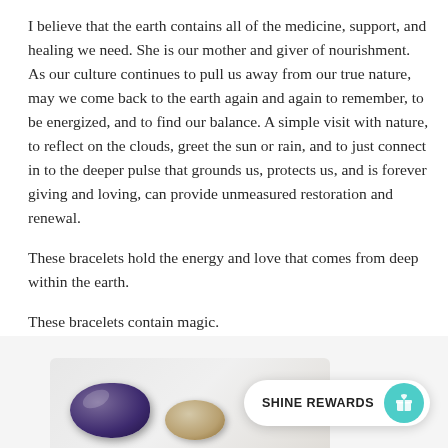I believe that the earth contains all of the medicine, support, and healing we need. She is our mother and giver of nourishment. As our culture continues to pull us away from our true nature, may we come back to the earth again and again to remember, to be energized, and to find our balance. A simple visit with nature, to reflect on the clouds, greet the sun or rain, and to just connect in to the deeper pulse that grounds us, protects us, and is forever giving and loving, can provide unmeasured restoration and renewal.
These bracelets hold the energy and love that comes from deep within the earth.
These bracelets contain magic.
SHOP BRACELETS
[Figure (photo): Photo of gemstone bracelets/stones on a light surface, partially visible at bottom of page]
[Figure (other): SHINE REWARDS widget — white pill-shaped button with teal circular icon containing a gift/reward symbol]